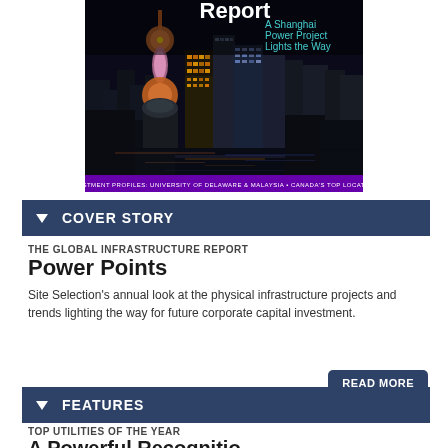[Figure (photo): Magazine cover showing Shanghai skyline at night with the title 'Report: A Shanghai Power Project Lights the Way' and subtitle 'Investment Profiles: University of Delaware & Malaysia • Canada's Top Locations']
▼ COVER STORY
THE GLOBAL INFRASTRUCTURE REPORT
Power Points
Site Selection's annual look at the physical infrastructure projects and trends lighting the way for future corporate capital investment.
▼ FEATURES
TOP UTILITIES OF THE YEAR
A Powerful Recognition...